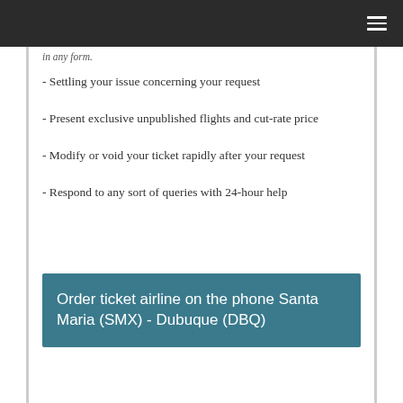in any form.
- Settling your issue concerning your request
- Present exclusive unpublished flights and cut-rate price
- Modify or void your ticket rapidly after your request
- Respond to any sort of queries with 24-hour help
Order ticket airline on the phone Santa Maria (SMX) - Dubuque (DBQ)